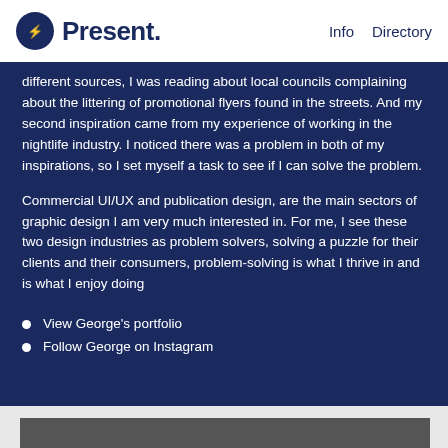Present. | Info | Directory
different sources, I was reading about local councils complaining about the littering of promotional flyers found in the streets. And my second inspiration came from my experience of working in the nightlife industry. I noticed there was a problem in both of my inspirations, so I set myself a task to see if I can solve the problem.
Commercial UI/UX and publication design, are the main sectors of graphic design I am very much interested in. For me, I see these two design industries as problem solvers, solving a puzzle for their clients and their consumers, problem-solving is what I thrive in and is what I enjoy doing
View George's portfolio
Follow George on Instagram